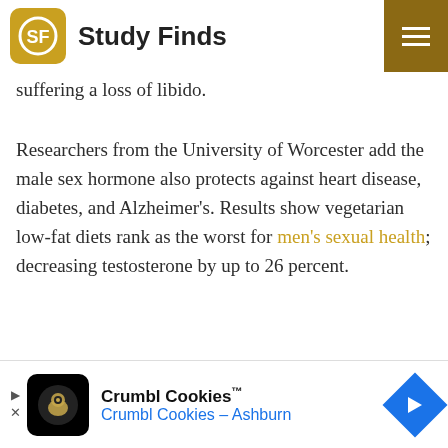Study Finds
suffering a loss of libido.
Researchers from the University of Worcester add the male sex hormone also protects against heart disease, diabetes, and Alzheimer's. Results show vegetarian low-fat diets rank as the worst for men's sexual health; decreasing testosterone by up to 26 percent.
[Figure (screenshot): Crumbl Cookies advertisement banner with logo, name 'Crumbl Cookies' and subtitle 'Crumbl Cookies - Ashburn']